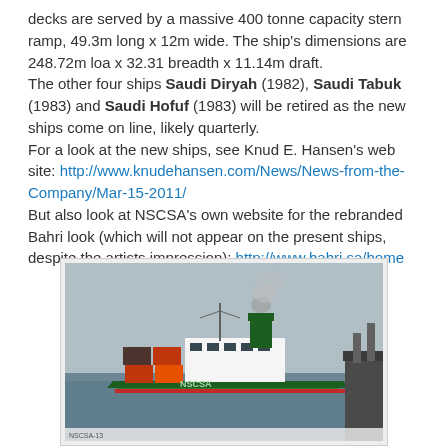decks are served by a massive 400 tonne capacity stern ramp, 49.3m long x 12m wide. The ship's dimensions are 248.72m loa x 32.31 breadth x 11.14m draft.
The other four ships Saudi Diryah (1982), Saudi Tabuk (1983) and Saudi Hofuf (1983) will be retired as the new ships come on line, likely quarterly.
For a look at the new ships, see Knud E. Hansen's web site: http://www.knudehansen.com/News/News-from-the-Company/Mar-15-2011/
But also look at NSCSA's own website for the rebranded Bahri look (which will not appear on the present ships, despite the artists impression): http://www.bahri.sa/home
[Figure (photo): NSCSA cargo ship at sea with smoke coming from funnel, dock visible on the right]